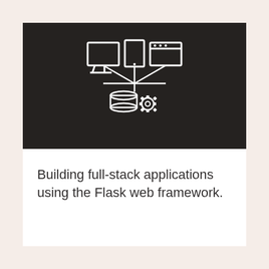[Figure (illustration): White line-art icon on dark background showing three devices (desktop monitor, tablet, browser window) connected via lines to a database cylinder with a gear/settings cog, representing full-stack web application architecture]
Building full-stack applications using the Flask web framework.